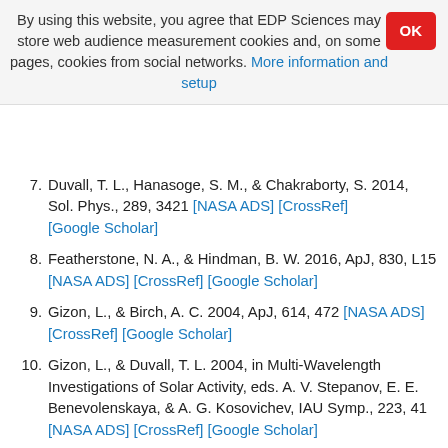By using this website, you agree that EDP Sciences may store web audience measurement cookies and, on some pages, cookies from social networks. More information and setup
7. Duvall, T. L., Hanasoge, S. M., & Chakraborty, S. 2014, Sol. Phys., 289, 3421 [NASA ADS] [CrossRef] [Google Scholar]
8. Featherstone, N. A., & Hindman, B. W. 2016, ApJ, 830, L15 [NASA ADS] [CrossRef] [Google Scholar]
9. Gizon, L., & Birch, A. C. 2004, ApJ, 614, 472 [NASA ADS] [CrossRef] [Google Scholar]
10. Gizon, L., & Duvall, T. L. 2004, in Multi-Wavelength Investigations of Solar Activity, eds. A. V. Stepanov, E. E. Benevolenskaya, & A. G. Kosovichev, IAU Symp., 223, 41 [NASA ADS] [CrossRef] [Google Scholar]
11. Gizon, L., Duvall, T. L., & Schou, J. 2003, Nature, 421, 43 [NASA ADS] [CrossRef] [PubMed] [Google Scholar]
12. Gošić, M., Bellot Rubio, L. R., Orozco Suárez, D.